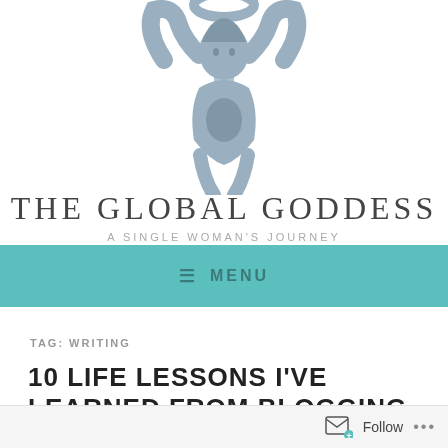[Figure (illustration): Stylized illustration of a goddess figure in blue-grey tones, arms raised holding a circular element, used as blog logo]
THE GLOBAL GODDESS
A SINGLE WOMAN'S JOURNEY
≡ MENU
TAG: WRITING
10 LIFE LESSONS I'VE LEARNED FROM BLOGGING
Follow ...